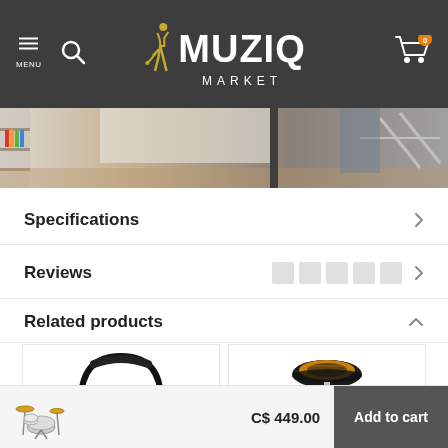MUZIQ MARKET — navigation header with menu, search, logo, and cart
[Figure (photo): Hero banner strip showing music equipment room interior]
Specifications
Reviews
Related products
[Figure (photo): Shure headphones — black over-ear wired headphones]
[Figure (photo): Drum throne / stool with orange padded seat on chrome tripod stand]
C$ 449.00   Add to cart